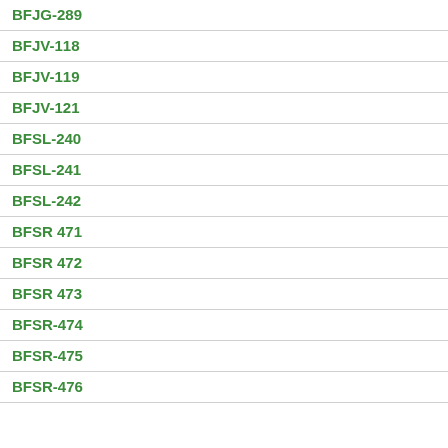BFJG-289
BFJV-118
BFJV-119
BFJV-121
BFSL-240
BFSL-241
BFSL-242
BFSR 471
BFSR 472
BFSR 473
BFSR-474
BFSR-475
BFSR-476